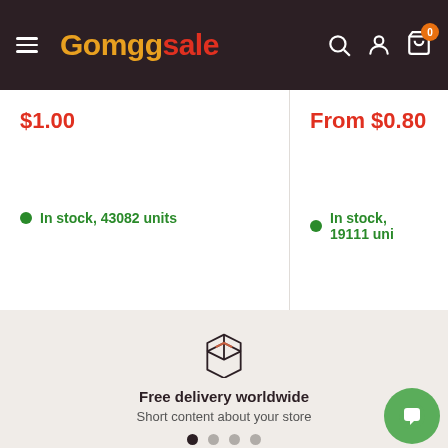Gomggsale — navigation header with search, account, and cart (0 items)
$1.00
In stock, 43082 units
From $0.80
In stock, 19111 uni...
[Figure (illustration): Box/package icon representing free delivery]
Free delivery worldwide
Short content about your store